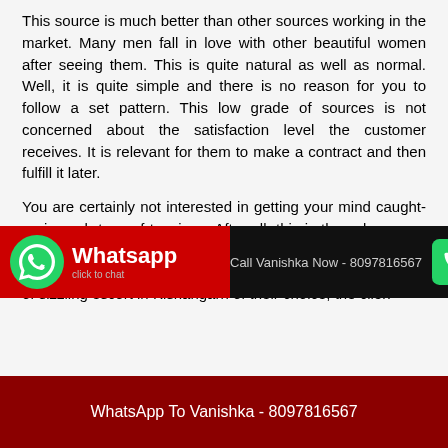This source is much better than other sources working in the market. Many men fall in love with other beautiful women after seeing them. This is quite natural as well as normal. Well, it is quite simple and there is no reason for you to follow a set pattern. This low grade of sources is not concerned about the satisfaction level the customer receives. It is relevant for them to make a contract and then fulfill it later.
You are certainly not interested in getting your mind caught-up in such type of tensions. After all, this is the sole reason for you getting attracted towards the other sexy independent escorts in kishangarh city. With the booking of sizzling escort in Kishangarh of their choice, the client is sure to have...
[Figure (infographic): Black banner with WhatsApp button (red background, green WhatsApp icon, white text 'Whatsapp click to chat'), centered text 'Call Vanishka Now - 8097816567', and Call us Now button with green phone icon on dark background]
WhatsApp To Vanishka - 8097816567